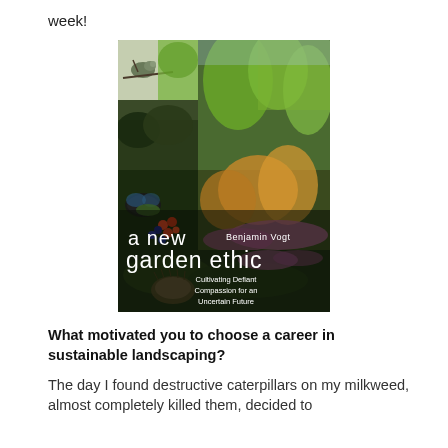week!
[Figure (photo): Book cover of 'A New Garden Ethic' by Benjamin Vogt. The cover features a collage of nature photographs including birds, a butterfly, berries, and lush green and purple garden plants. Title text reads 'a new garden ethic' with subtitle 'Cultivating Defiant Compassion for an Uncertain Future'.]
What motivated you to choose a career in sustainable landscaping?
The day I found destructive caterpillars on my milkweed, almost completely killed them, decided to